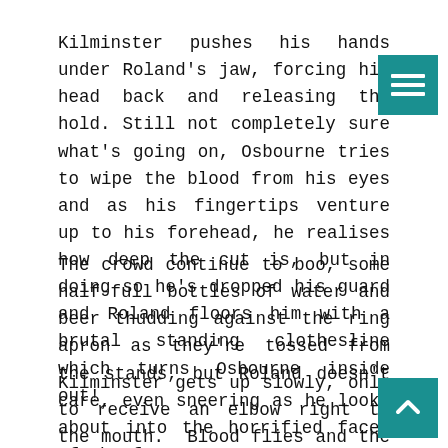Kilminster pushes his hands under Roland's jaw, forcing his head back and releasing the hold. Still not completely sure what's going on, Osbourne tries to wipe the blood from his eyes and as his fingertips venture up to his forehead, he realises how deep the cut is, but in doing so he's dropped his guard and Roland floors him with a brutal standing clothesline which turns Osbourne inside out!
The crowd continue to boo, some half-full bottles of water and beer thudding against the ring apron as they're tossed from the stands, but Roland doesn't care, even sneering as he looks about into the horrified faces of the fans.
Kilminster gets up slowly, only to receive an elbow right to the mouth.  Blood flies and the crowd begins to scream angrily. Roland pulls Kilminster up by the ha and drapes him across his shoulders.  He laughs to the